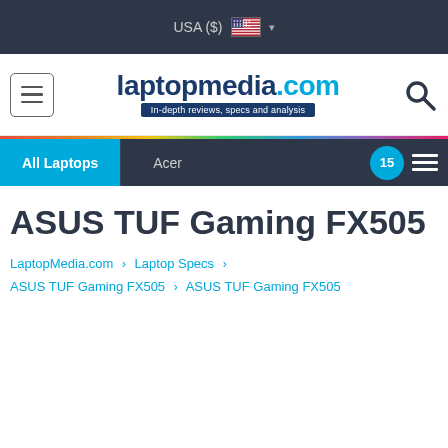USA ($)
[Figure (logo): laptopmedia.com logo with tagline: In-depth reviews, specs and analysis]
All Laptops | Acer | 15
ASUS TUF Gaming FX505
LaptopMedia.com > Laptop Specs > ASUS TUF Gaming FX505 > ASUS TUF Gaming FX505